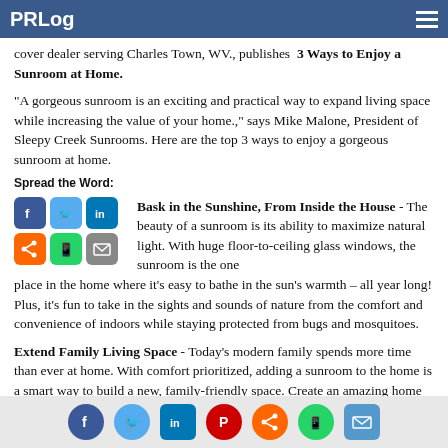PRLog
cover dealer serving Charles Town, WV., publishes 3 Ways to Enjoy a Sunroom at Home.
"A gorgeous sunroom is an exciting and practical way to expand living space while increasing the value of your home.," says Mike Malone, President of Sleepy Creek Sunrooms. Here are the top 3 ways to enjoy a gorgeous sunroom at home.
Spread the Word:
[Figure (infographic): Social media share icons: Facebook, Twitter, LinkedIn, Share, WhatsApp, Email]
Bask in the Sunshine, From Inside the House - The beauty of a sunroom is its ability to maximize natural light. With huge floor-to-ceiling glass windows, the sunroom is the one place in the home where it's easy to bathe in the sun's warmth – all year long! Plus, it's fun to take in the sights and sounds of nature from the comfort and convenience of indoors while staying protected from bugs and mosquitoes.
Extend Family Living Space - Today's modern family spends more time than ever at home. With comfort prioritized, adding a sunroom to the home is a smart way to build a new, family-friendly space. Create an amazing home office that feels open and airy. Or build a play area for the kids that offers plenty of healthy
Social share footer icons: Facebook, Twitter, LinkedIn, Pinterest, Share, WhatsApp, Email